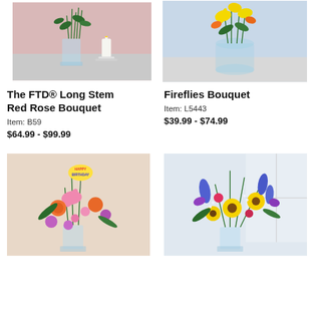[Figure (photo): The FTD Long Stem Red Rose Bouquet product photo showing green roses in a clear vase with a candle in the background on a pink backdrop]
[Figure (photo): Fireflies Bouquet product photo showing yellow lilies and orange alstroemeria in a clear glass vase on a light blue background]
The FTD® Long Stem Red Rose Bouquet
Item: B59
$64.99 - $99.99
Fireflies Bouquet
Item: L5443
$39.99 - $74.99
[Figure (photo): Birthday flower bouquet with pink lilies, orange roses, purple daisies, and a Happy Birthday balloon in a clear vase on a beige background]
[Figure (photo): Wildflower arrangement with sunflowers, blue delphiniums, and colorful mixed flowers in a clear vase by a window]